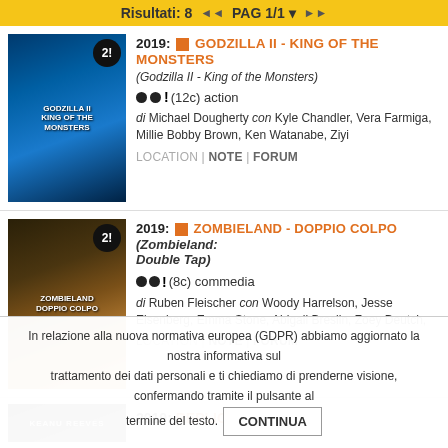Risultati: 8  << PAG 1/1 >>
[Figure (photo): Movie poster for Godzilla II - King of the Monsters]
2019: GODZILLA II - KING OF THE MONSTERS (Godzilla II - King of the Monsters) ●●! (12c) action di Michael Dougherty con Kyle Chandler, Vera Farmiga, Millie Bobby Brown, Ken Watanabe, Ziyi LOCATION | NOTE | FORUM
[Figure (photo): Movie poster for Zombieland - Doppio Colpo]
2019: ZOMBIELAND - DOPPIO COLPO (Zombieland: Double Tap) ●●! (8c) commedia di Ruben Fleischer con Woody Harrelson, Jesse Eisenberg, Emma Stone, Abigail Breslin, Zoey Deutch, LOCATION | NOTE | FORUM
[Figure (photo): Movie poster for Replicas - Keanu Reeves]
2019: REPLICAS (Replicas)
In relazione alla nuova normativa europea (GDPR) abbiamo aggiornato la nostra informativa sul trattamento dei dati personali e ti chiediamo di prenderne visione, confermando tramite il pulsante al termine del testo. CONTINUA